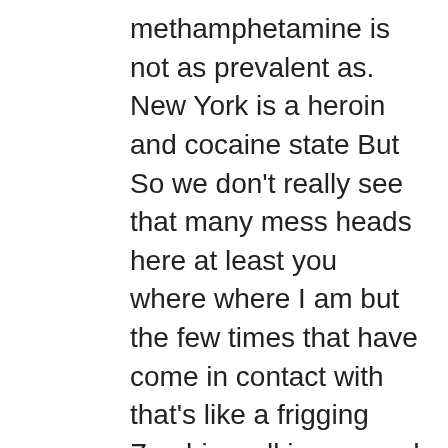methamphetamine is not as prevalent as. New York is a heroin and cocaine state But So we don't really see that many mess heads here at least you where where I am but the few times that have come in contact with that's like a frigging Zombie walking around those people are just like the strangest behavior you would ever save from somebody it. It's IT BAFFLES my mind because I haven't been really around that much. But when I have seen it, it's just like, wow that that I could see how that could cause trouble in in place. In my opinion methamphetamines. The single most negative impact her. Negative element of outlaw motorcycle, club culture, and followed second by. Infiltration Investigations. because. Without the Meth